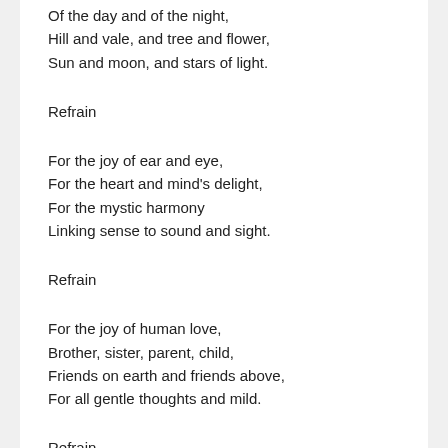Of the day and of the night,
Hill and vale, and tree and flower,
Sun and moon, and stars of light.
Refrain
For the joy of ear and eye,
For the heart and mind's delight,
For the mystic harmony
Linking sense to sound and sight.
Refrain
For the joy of human love,
Brother, sister, parent, child,
Friends on earth and friends above,
For all gentle thoughts and mild.
Refrain
For Thy Church, that evermore
Lifteth holy hands above,